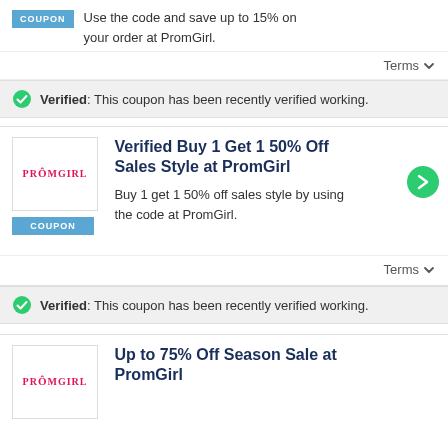Use the code and save up to 15% on your order at PromGirl.
Terms ∨
Verified: This coupon has been recently verified working.
Verified Buy 1 Get 1 50% Off Sales Style at PromGirl
Buy 1 get 1 50% off sales style by using the code at PromGirl.
Terms ∨
Verified: This coupon has been recently verified working.
Up to 75% Off Season Sale at PromGirl